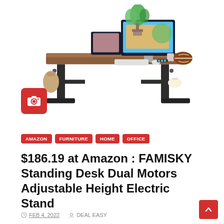[Figure (photo): Electric standing desk with brown wooden top and black metal frame, dual monitors, laptop, plant, football, headphones, and backpack accessories on it]
[Figure (other): Red camera icon button]
AMAZON   FURNITURE   HOME   OFFICE
$186.19 at Amazon : FAMISKY Standing Desk Dual Motors Adjustable Height Electric Stand
FEB 4, 2022   DEAL EASY